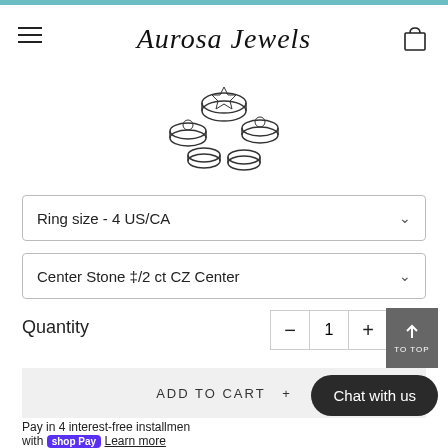Aurosa Jewels
[Figure (illustration): Line art sketch of five diamond rings arranged in a loose cluster]
Ring size - 4 US/CA
Center Stone 1/2 ct CZ Center
Quantity 1
ADD TO CART +
Chat with us
Pay in 4 interest-free installments with shop Pay Learn more